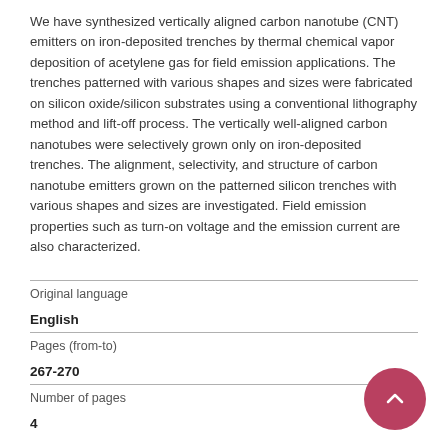We have synthesized vertically aligned carbon nanotube (CNT) emitters on iron-deposited trenches by thermal chemical vapor deposition of acetylene gas for field emission applications. The trenches patterned with various shapes and sizes were fabricated on silicon oxide/silicon substrates using a conventional lithography method and lift-off process. The vertically well-aligned carbon nanotubes were selectively grown only on iron-deposited trenches. The alignment, selectivity, and structure of carbon nanotube emitters grown on the patterned silicon trenches with various shapes and sizes are investigated. Field emission properties such as turn-on voltage and the emission current are also characterized.
| Original language |  |
| English |  |
| Pages (from-to) |  |
| 267-270 |  |
| Number of pages |  |
| 4 |  |